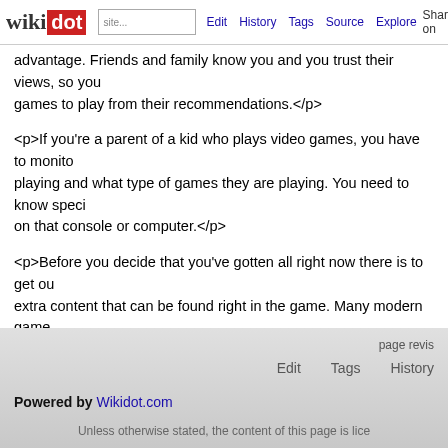wikidot | site | Edit | History | Tags | Source | Explore | Share on Twitter
<p>advantage. Friends and family know you and you trust their views, so you choose games to play from their recommendations.</p>
<p>If you're a parent of a kid who plays video games, you have to monitor who they're playing and what type of games they are playing. You need to know specifically what's on that console or computer.</p>
<p>Before you decide that you've gotten all right now there is to get out of a game, look at extra content that can be found right in the game. Many modern games offer some sort of content that are just available after you have made considerable progress. Many more hours of fun left in a casino game you were thought by you were finished with!</p>
<p>Video gaming can literally take you out of the world and into a completely different place where chivalry rules the day, or a nuclear meltdown has morphed most of humanity into zombies! Or maybe you want to improve your game play by a few points! Hopefully this content has increased your understanding</p>
Comments: 0
Add a New Comment
page revis | Edit | Tags | History
Powered by Wikidot.com
Unless otherwise stated, the content of this page is lice